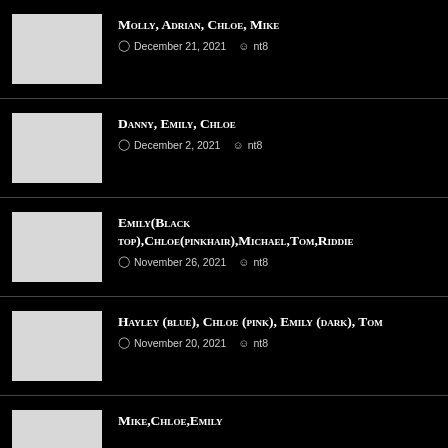Molly, Adrian, Chloe, Mike — December 21, 2021 — nt8
Danny, Emily, Chloe — December 2, 2021 — nt8
Emily(Black top),Chloe(pinkhair),Michael,Tom,Riddie — November 26, 2021 — nt8
Hayley (blue), Chloe (pink), Emily (dark), Tom — November 20, 2021 — nt8
Mike,Chloe,Emily